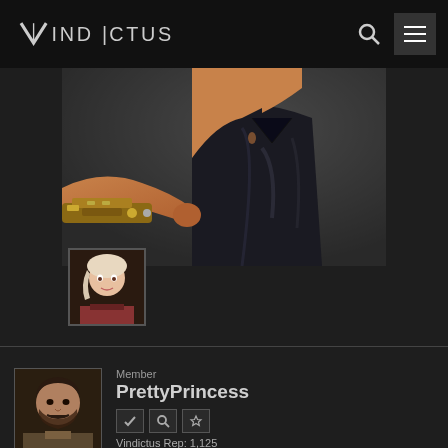VINDICTUS
[Figure (screenshot): Game screenshot showing a character's torso and lower body in dark pants, with an arm holding a golden weapon/gun extending from the left side. Dark background.]
[Figure (photo): Small avatar portrait of a female game character with light hair and red outfit detail.]
Member
PrettyPrincess
Vindictus Rep: 1,125
Posts: 34
MAY 2, 2019    EDITED MAY 2, 2019
[Figure (photo): Small avatar portrait of a male game character with dark hair and beard wearing a vest/tunic.]